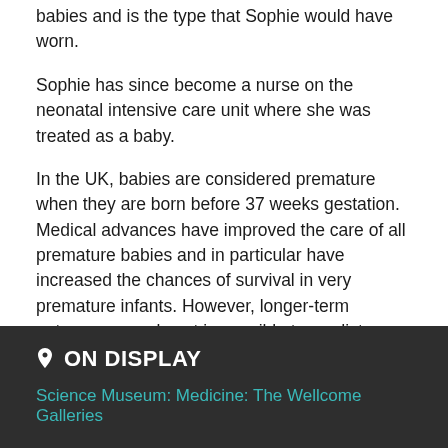babies and is the type that Sophie would have worn.
Sophie has since become a nurse on the neonatal intensive care unit where she was treated as a baby.
In the UK, babies are considered premature when they are born before 37 weeks gestation. Medical advances have improved the care of all premature babies and in particular have increased the chances of survival in very premature infants. However, longer-term outcomes are almost impossible to predict.
ON DISPLAY
Science Museum: Medicine: The Wellcome Galleries